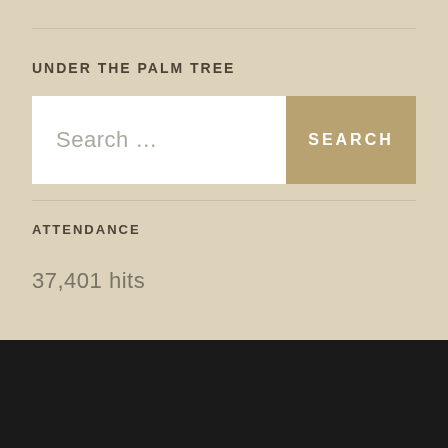UNDER THE PALM TREE
Search ...
ATTENDANCE
37,401 hits
[Figure (logo): WordPress logo icon in gold/tan color on dark footer background]